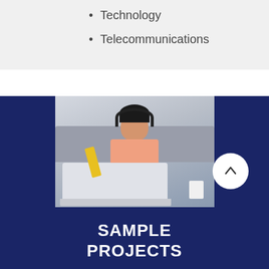Technology
Telecommunications
[Figure (photo): Young girl wearing headphones, smiling at a laptop computer, sitting on a sofa with a cup nearby]
SAMPLE PROJECTS
Te Pūkenga | NZ Institute of Skills and Technology – helping create a digital strategy and ISSP